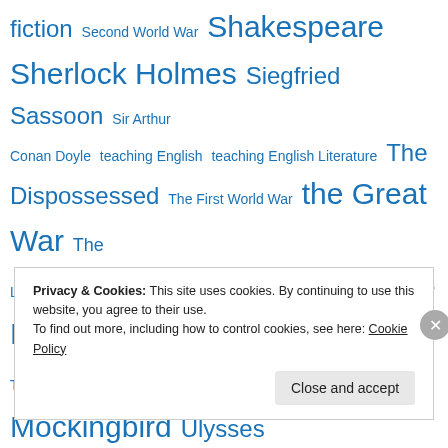fiction Second World War Shakespeare Sherlock Holmes Siegfried Sassoon Sir Arthur Conan Doyle teaching English teaching English Literature The Dispossessed The First World War the Great War The Last Man The Merchant of Venice The Name of the Rose The Tin Drum Timothy Snyder To Kill A Mockingbird Ulysses Umberto Eco Ursula Le Guin Ursula LeGuin utopia Vassily Grossman War and Peace Wilfred Owen
Privacy & Cookies: This site uses cookies. By continuing to use this website, you agree to their use. To find out more, including how to control cookies, see here: Cookie Policy
Close and accept